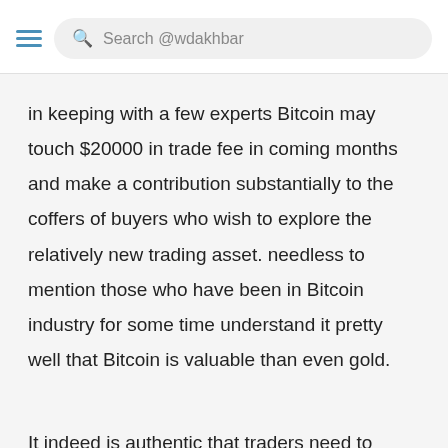Search @wdakhbar
in keeping with a few experts Bitcoin may touch $20000 in trade fee in coming months and make a contribution substantially to the coffers of buyers who wish to explore the relatively new trading asset. needless to mention those who have been in Bitcoin industry for some time understand it pretty well that Bitcoin is valuable than even gold.
It indeed is authentic that traders need to continually take